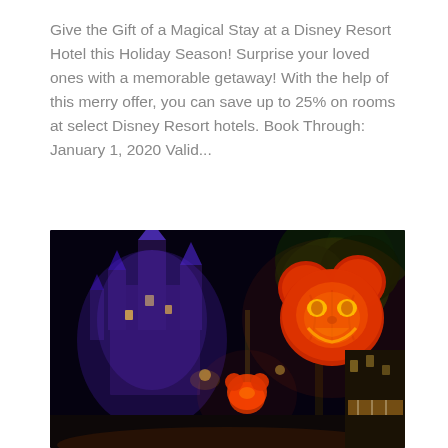Give the Gift of a Magical Stay at a Disney Resort Hotel this Holiday Season! Surprise your loved ones with a memorable getaway! With the help of this merry offer, you can save up to 25% on rooms at select Disney Resort hotels. Book Through: January 1, 2020 Valid...
[Figure (photo): Nighttime photo at Walt Disney World Magic Kingdom showing Cinderella Castle illuminated in purple/blue lighting on the left, with Mickey Mouse-shaped jack-o-lantern pumpkin decorations glowing orange on the right side, creating a Halloween atmosphere on Main Street.]